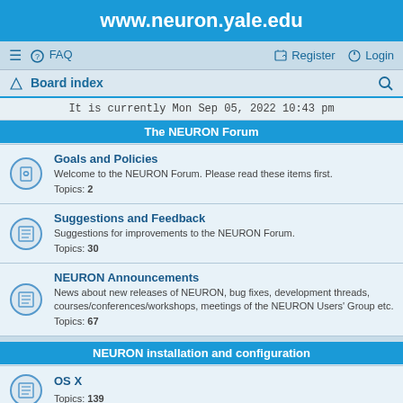www.neuron.yale.edu
≡  FAQ    Register  Login
Board index
It is currently Mon Sep 05, 2022 10:43 pm
The NEURON Forum
Goals and Policies
Welcome to the NEURON Forum. Please read these items first.
Topics: 2
Suggestions and Feedback
Suggestions for improvements to the NEURON Forum.
Topics: 30
NEURON Announcements
News about new releases of NEURON, bug fixes, development threads, courses/conferences/workshops, meetings of the NEURON Users' Group etc.
Topics: 67
NEURON installation and configuration
OS X
Topics: 139
MSWin
Topics: 133